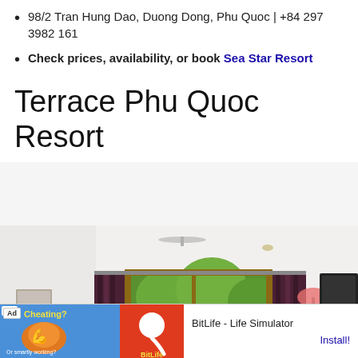98/2 Tran Hung Dao, Duong Dong, Phu Quoc | +84 297 3982 161
Check prices, availability, or book Sea Star Resort
Terrace Phu Quoc Resort
[Figure (photo): Interior hotel room photo showing white walls, purple/dark red curtains, glass door/window with green trees visible outside, ceiling fan, and TV on right side]
[Figure (screenshot): Ad banner: BitLife - Life Simulator app advertisement with Install button]